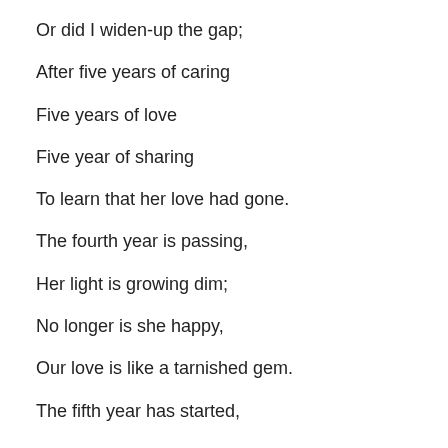Or did I widen-up the gap;
After five years of caring
Five years of love
Five year of sharing
To learn that her love had gone.
The fourth year is passing,
Her light is growing dim;
No longer is she happy,
Our love is like a tarnished gem.
The fifth year has started,